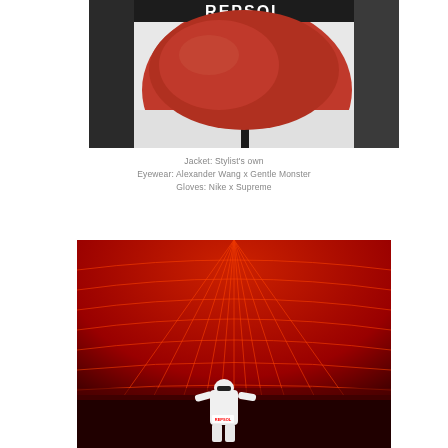[Figure (photo): Close-up photo of a Repsol motorcycle racing jacket showing the red, white, and black Repsol logo/design on leather]
Jacket: Stylist's own
Eyewear: Alexander Wang x Gentle Monster
Gloves: Nike x Supreme
[Figure (photo): Photo of a person wearing a white Repsol racing suit standing in a dramatic red and black environment with a glowing red grid ceiling/dome above them]